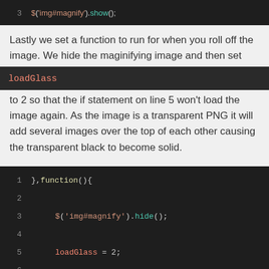[Figure (screenshot): Code block showing line 3: $('img#magnify').show();]
Lastly we set a function to run for when you roll off the image. We hide the maginifying image and then set
loadGlass
to 2 so that the if statement on line 5 won't load the image again. As the image is a transparent PNG it will add several images over the top of each other causing the transparent black to become solid.
[Figure (screenshot): Code block showing lines 1-6 with },function(){ on line 1, $('img#magnify').hide(); on line 3, loadGlass = 2; on line 5]